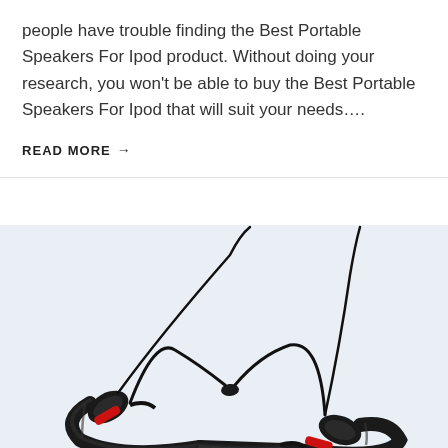people have trouble finding the Best Portable Speakers For Ipod product. Without doing your research, you won't be able to buy the Best Portable Speakers For Ipod that will suit your needs….
READ MORE →
[Figure (photo): A black Bluetooth neckband earphone/headset with red accent cable clip, shown against a light blue-grey background. The neckband has two earphone wires extending upward and cables bundled together.]